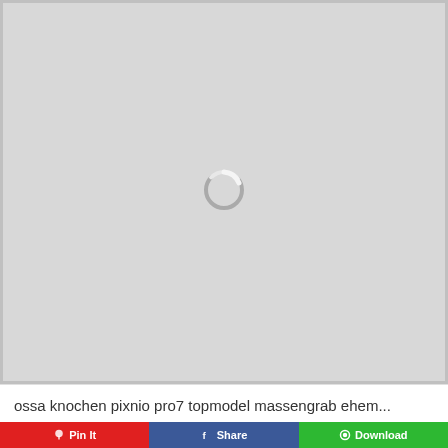[Figure (other): Large grey loading/placeholder area with a circular spinner icon in the center, surrounded by a light grey border]
ossa knochen pixnio pro7 topmodel massengrab ehem...
Pin It
Share
Download